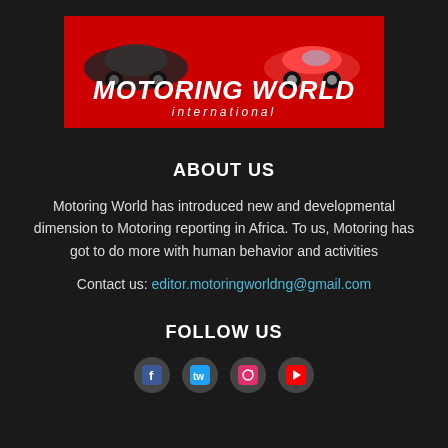[Figure (logo): Motoring World International logo on red background with cartoon sports cars]
ABOUT US
Motoring World has introduced new and developmental dimension to Motoring reporting in Africa. To us, Motoring has got to do more with human behavior and activities
Contact us: editor.motoringworldng@gmail.com
FOLLOW US